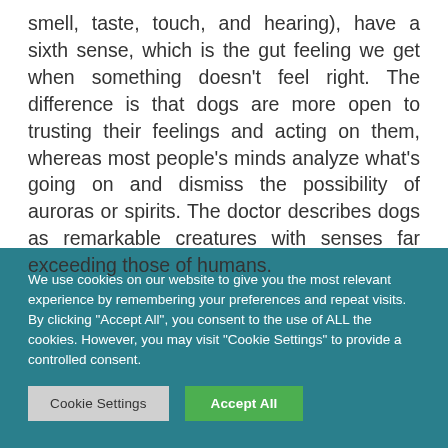smell, taste, touch, and hearing), have a sixth sense, which is the gut feeling we get when something doesn't feel right. The difference is that dogs are more open to trusting their feelings and acting on them, whereas most people's minds analyze what's going on and dismiss the possibility of auroras or spirits. The doctor describes dogs as remarkable creatures with senses far exceeding those of humans.
We use cookies on our website to give you the most relevant experience by remembering your preferences and repeat visits. By clicking "Accept All", you consent to the use of ALL the cookies. However, you may visit "Cookie Settings" to provide a controlled consent.